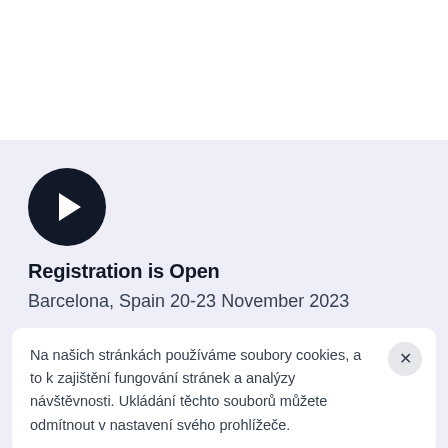[Figure (illustration): Play button circle — dark navy circle with white triangle pointing right, on a light lavender background]
Registration is Open
Barcelona, Spain 20-23 November 2023
Na našich stránkách používáme soubory cookies, a to k zajištění fungování stránek a analýzy návštěvnosti. Ukládání těchto souborů můžete odmítnout v nastavení svého prohlížeče.